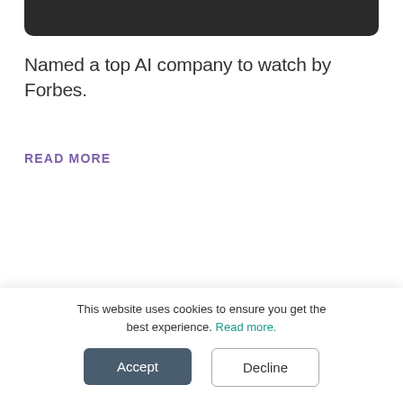[Figure (photo): Dark/black image strip at the top of the page, partially cropped, with rounded bottom corners]
Named a top AI company to watch by Forbes.
READ MORE
[Figure (illustration): Blue card with The Information logo (white circle with T and text 'The Information' in white serif font on dark blue background)]
This website uses cookies to ensure you get the best experience. Read more.
Accept
Decline